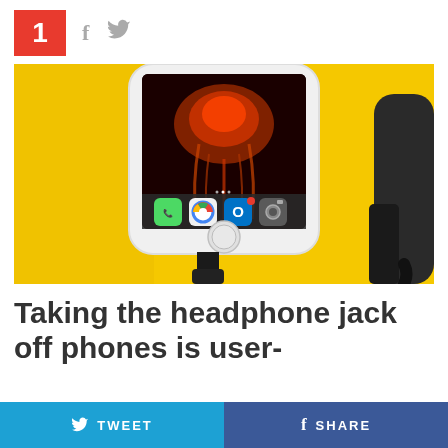1  f  🐦
[Figure (photo): An iPhone with a beard/jellyfish wallpaper showing Phone, Chrome, Outlook, Camera apps on the home screen, held against a yellow background with a black charging cable plugged in. Another headphone cable visible on the right side.]
Taking the headphone jack off phones is user-
TWEET   SHARE